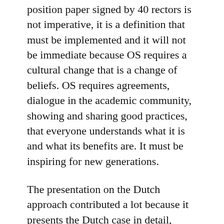position paper signed by 40 rectors is not imperative, it is a definition that must be implemented and it will not be immediate because OS requires a cultural change that is a change of beliefs. OS requires agreements, dialogue in the academic community, showing and sharing good practices, that everyone understands what it is and what its benefits are. It must be inspiring for new generations.
The presentation on the Dutch approach contributed a lot because it presents the Dutch case in detail, addressing the context, the ideas that support the proposal, the rationale and also provides concrete examples of implementation. Uruguay, my country, is still far from a proposal like this, the national academic community is timidly approaching the ideas of the Open Access movement. In recent years, some repositories have been implemented and the